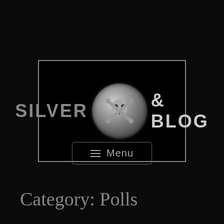[Figure (logo): Silver & Blog website logo banner: black rectangle with border, text SILVER on left, coin/skull medallion in center, & BLOG on right]
≡ Menu
Category: Polls